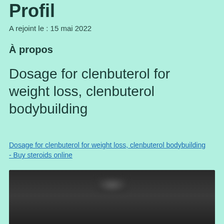Profil
A rejoint le : 15 mai 2022
À propos
Dosage for clenbuterol for weight loss, clenbuterol bodybuilding
Dosage for clenbuterol for weight loss, clenbuterol bodybuilding - Buy steroids online
[Figure (photo): Blurred dark photograph, partially visible at bottom of page]